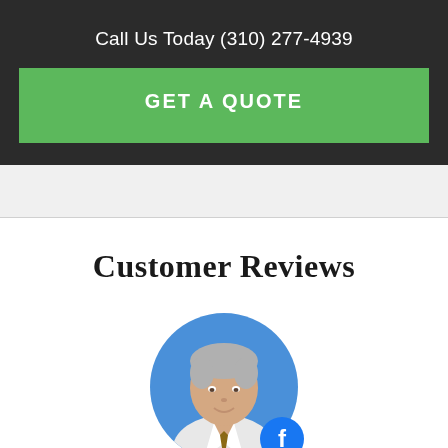Call Us Today (310) 277-4939
GET A QUOTE
Customer Reviews
[Figure (photo): Circular profile photo of a middle-aged man with gray hair wearing a white shirt and tie, against a blue background. A Facebook badge icon appears in the bottom right of the circle.]